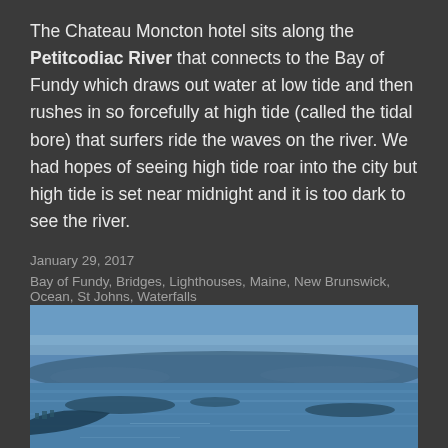The Chateau Moncton hotel sits along the Petitcodiac River that connects to the Bay of Fundy which draws out water at low tide and then rushes in so forcefully at high tide (called the tidal bore) that surfers ride the waves on the river. We had hopes of seeing high tide roar into the city but high tide is set near midnight and it is too dark to see the river.
January 29, 2017
Bay of Fundy, Bridges, Lighthouses, Maine, New Brunswick, Ocean, St Johns, Waterfalls
[Figure (photo): A wide aerial or elevated panoramic photograph of a bay or coastal waterway with blue water, islands in the distance, and hilly terrain under a hazy blue sky.]